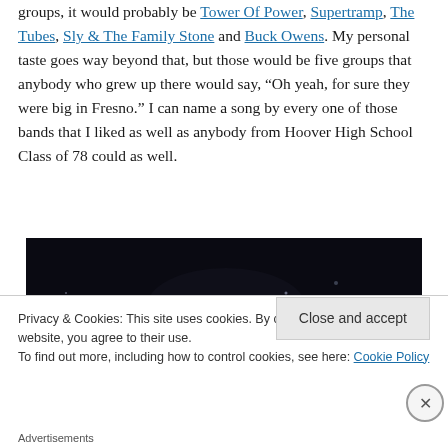groups, it would probably be Tower Of Power, Supertramp, The Tubes, Sly & The Family Stone and Buck Owens. My personal taste goes way beyond that, but those would be five groups that anybody who grew up there would say, "Oh yeah, for sure they were big in Fresno." I can name a song by every one of those bands that I liked as well as anybody from Hoover High School Class of 78 could as well.
[Figure (photo): A dark, nearly black photo of what appears to be a concert or nighttime scene with faint scattered light dots/bokeh]
Privacy & Cookies: This site uses cookies. By continuing to use this website, you agree to their use. To find out more, including how to control cookies, see here: Cookie Policy
Advertisements